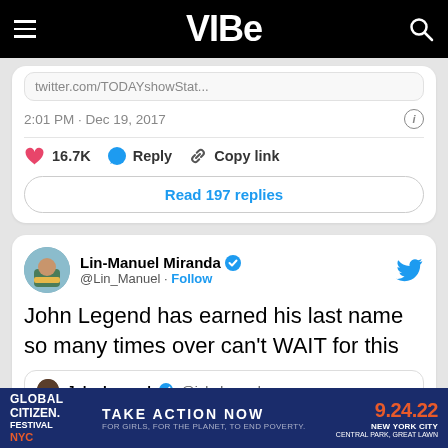VIBE
twitter.com/TODAYshowStat...
2:01 PM · Dec 19, 2017
16.7K  Reply  Copy link
Read 197 replies
[Figure (screenshot): Tweet by Lin-Manuel Miranda (@Lin_Manuel) with verified badge and Follow button. Tweet text: John Legend has earned his last name so many times over can't WAIT for this. Below is a quoted tweet from John Legend (@johnlegend).]
Lin-Manuel Miranda @Lin_Manuel · Follow
John Legend has earned his last name so many times over can't WAIT for this
John Legend @johnlegend
GLOBAL CITIZEN FESTIVAL NYC — TAKE ACTION NOW — FOR GIRLS, FOR THE PLANET, TO END POVERTY. — 9.24.22 NEW YORK CITY CENTRAL PARK, GREAT LAWN